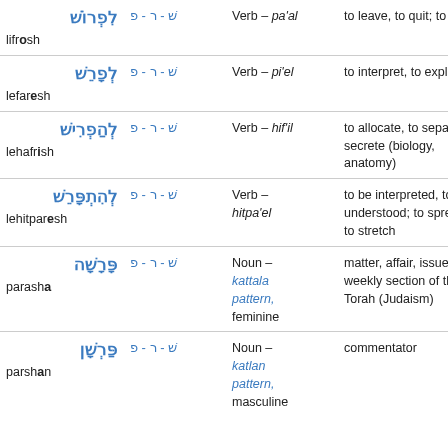| Hebrew | Root | Type | Meaning |
| --- | --- | --- | --- |
| לִפְרוֹשׁ / lifrosh | פ - ר - שׁ | Verb – pa'al | to leave, to quit; to retire |
| לְפָרֵשׁ / lefaresh | פ - ר - שׁ | Verb – pi'el | to interpret, to explain |
| לְהַפְרִישׁ / lehafrish | פ - ר - שׁ | Verb – hif'il | to allocate, to separate; to secrete (biology, anatomy) |
| לְהִתְפָּרֵשׁ / lehitparesh | פ - ר - שׁ | Verb – hitpa'el | to be interpreted, to be understood; to spread out, to stretch |
| פָּרָשָׁה / parasha | פ - ר - שׁ | Noun – kattala pattern, feminine | matter, affair, issue; weekly section of the Torah (Judaism) |
| פַּרְשָׁן / parshan | פ - ר - שׁ | Noun – katlan pattern, masculine | commentator |